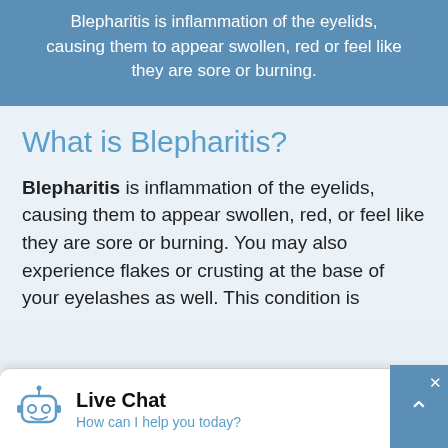Blepharitis is inflammation of the eyelids, causing them to appear swollen, red or feel like they are sore or burning.
What is Blepharitis?
Blepharitis is inflammation of the eyelids, causing them to appear swollen, red, or feel like they are sore or burning. You may also experience flakes or crusting at the base of your eyelashes as well. This condition is
Live Chat
How can I help you today?